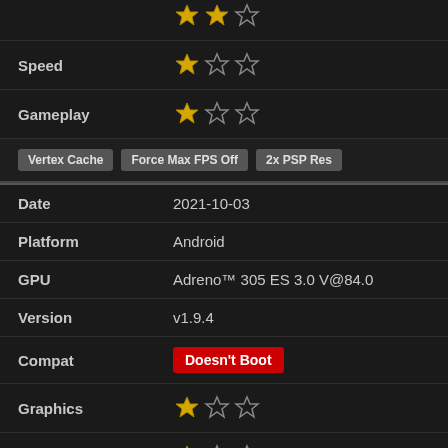Speed: 1 out of 3 stars
Gameplay: 1 out of 3 stars
Vertex Cache | Force Max FPS Off | 2x PSP Res
| Field | Value |
| --- | --- |
| Date | 2021-10-03 |
| Platform | Android |
| GPU | Adreno™ 305 ES 3.0 V@84.0 |
| Version | v1.9.4 |
| Compat | Doesn't Boot |
| Graphics | 1 out of 3 stars |
| Speed | 1 out of 3 stars |
| Gameplay | 1 out of 3 stars |